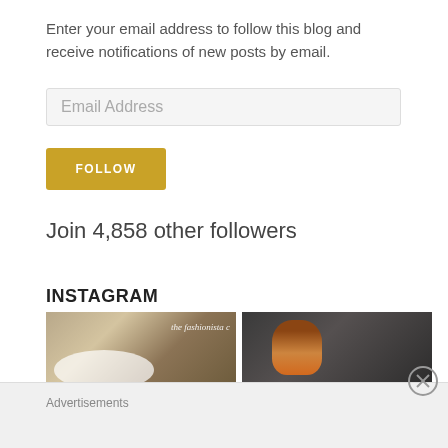Enter your email address to follow this blog and receive notifications of new posts by email.
[Figure (screenshot): Email address input field with placeholder text 'Email Address']
[Figure (screenshot): Yellow FOLLOW button]
Join 4,858 other followers
INSTAGRAM
[Figure (photo): Two Instagram photo thumbnails: left shows food dish with overlay text 'the fashionista c', right shows people at a venue]
Advertisements